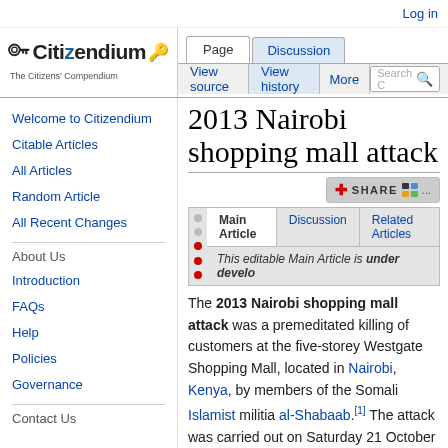Log in
[Figure (logo): Citizendium logo with key icon and tagline 'The Citizens' Compendium']
Page | Discussion | View source | View history | More
2013 Nairobi shopping mall attack
[Figure (infographic): Share bar with red plus icon, SHARE text, and social media icons]
| Main Article | Discussion | Related Articles |
| --- | --- | --- |
| This editable Main Article is under development |  |  |
The 2013 Nairobi shopping mall attack was a premeditated killing of customers at the five-storey Westgate Shopping Mall, located in Nairobi, Kenya, by members of the Somali Islamist militia al-Shabaab.[1] The attack was carried out on Saturday 21 October 2013, by at